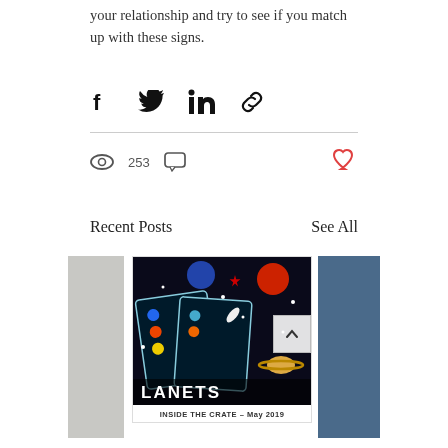your relationship and try to see if you match up with these signs.
[Figure (infographic): Social share buttons: Facebook, Twitter, LinkedIn, link/chain icon]
253 views, comment icon, heart/like button
Recent Posts
See All
[Figure (photo): Center post card showing space/planets themed sticker cards on a colorful background with stars, rockets, and planets. Caption reads INSIDE THE CRATE - May 2019]
INSIDE THE CRATE - May 2019